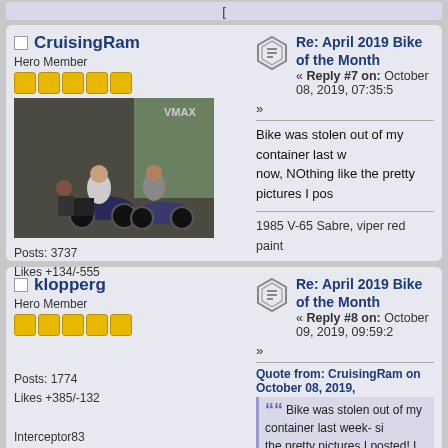[
CruisingRam
Hero Member
Posts: 3737
Likes +134/-555
Re: April 2019 Bike of the Month
« Reply #7 on: October 08, 2019, 07:35:5
»
Bike was stolen out of my container last w now, NOthing like the pretty pictures I pos
1985 V-65 Sabre, viper red paint
1975 Z1-B Kawasaki 900 viper red paint
Pics of bike:
[
klopperg
Hero Member
Posts: 1774
Likes +385/-132
Interceptor83
Re: April 2019 Bike of the Month
« Reply #8 on: October 09, 2019, 09:59:2
»
Quote from: CruisingRam on October 08, 2019,
Bike was stolen out of my container last week- si the pretty pictures I posted! I will post on general